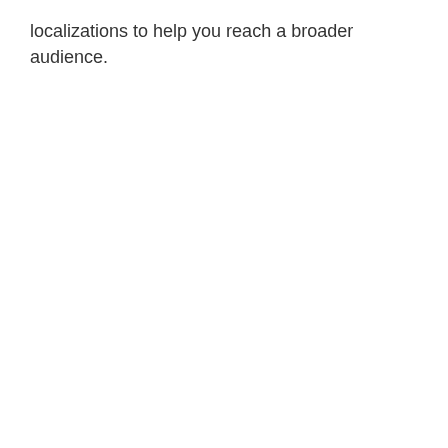localizations to help you reach a broader audience.